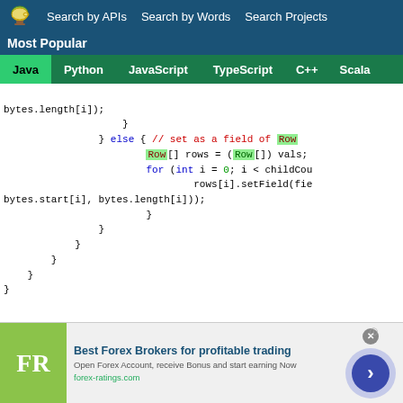Search by APIs | Search by Words | Search Projects
Most Popular
Java | Python | JavaScript | TypeScript | C++ | Scala
bytes.length[i]);
                    }
                } else { // set as a field of Row
                        Row[] rows = (Row[]) vals;
                        for (int i = 0; i < childCou
                                rows[i].setField(fie
bytes.start[i], bytes.length[i]));
                        }
                }
            }
        }
    }
}
[Figure (screenshot): Advertisement banner for Best Forex Brokers - FR logo, title 'Best Forex Brokers for profitable trading', subtitle 'Open Forex Account, receive Bonus and start earning Now', URL 'forex-ratings.com', with arrow button]